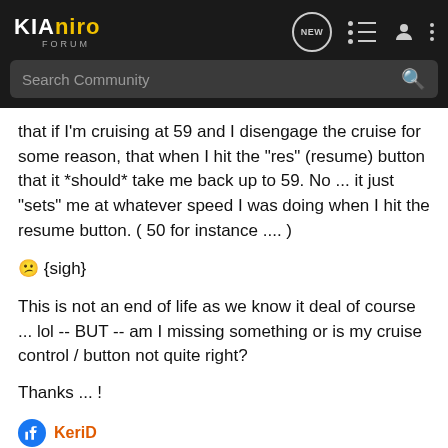KiaNiro Forum — Search Community
that if I'm cruising at 59 and I disengage the cruise for some reason, that when I hit the "res" (resume) button that it *should* take me back up to 59. No ... it just "sets" me at whatever speed I was doing when I hit the resume button. ( 50 for instance .... )
😕 {sigh}
This is not an end of life as we know it deal of course ... lol -- BUT -- am I missing something or is my cruise control / button not quite right?
Thanks ... !
👍 KeriD